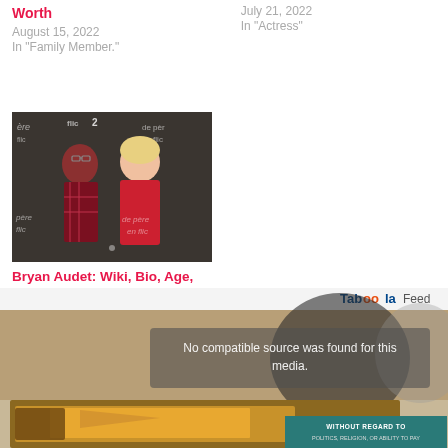Worth
August 15, 2022
In "Family Member."
July 21, 2022
In "Actress"
[Figure (photo): Two people posing at a film event backdrop reading 'de père en flic 2', man in plaid shirt and woman in red dress]
Bryan Audet: Wiki, Bio, Age, Height, Wife, Songs, Family, Net Worth
June 23, 2022
In "Actors"
[Figure (screenshot): Taboola Feed section with media player showing 'No compatible source was found for this media.' overlaid on desert/stone background, with airplane photo strip and 'WITHOUT REGARD TO' teal banner]